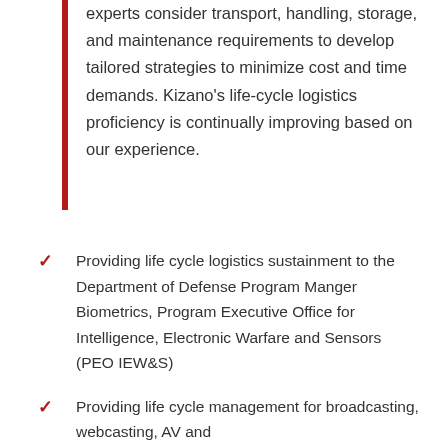experts consider transport, handling, storage, and maintenance requirements to develop tailored strategies to minimize cost and time demands. Kizano's life-cycle logistics proficiency is continually improving based on our experience.
Providing life cycle logistics sustainment to the Department of Defense Program Manger Biometrics, Program Executive Office for Intelligence, Electronic Warfare and Sensors (PEO IEW&S)
Providing life cycle management for broadcasting, webcasting, AV and